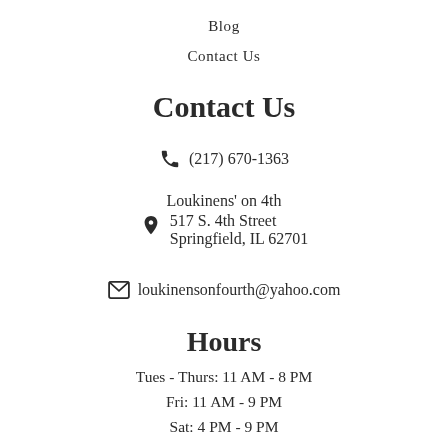Blog
Contact Us
Contact Us
(217) 670-1363
Loukinens' on 4th
517 S. 4th Street
Springfield, IL 62701
loukinensonfourth@yahoo.com
Hours
Tues - Thurs: 11 AM - 8 PM
Fri: 11 AM - 9 PM
Sat: 4 PM - 9 PM